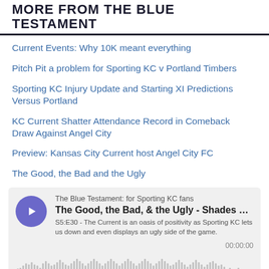MORE FROM THE BLUE TESTAMENT
Current Events: Why 10K meant everything
Pitch Pit a problem for Sporting KC v Portland Timbers
Sporting KC Injury Update and Starting XI Predictions Versus Portland
KC Current Shatter Attendance Record in Comeback Draw Against Angel City
Preview: Kansas City Current host Angel City FC
The Good, the Bad and the Ugly
[Figure (screenshot): Podcast player widget for 'The Blue Testament: for Sporting KC fans' showing episode 'The Good, the Bad, & the Ugly - Shades ...' S5:E30 with a waveform visualization and timestamp 00:00:00]